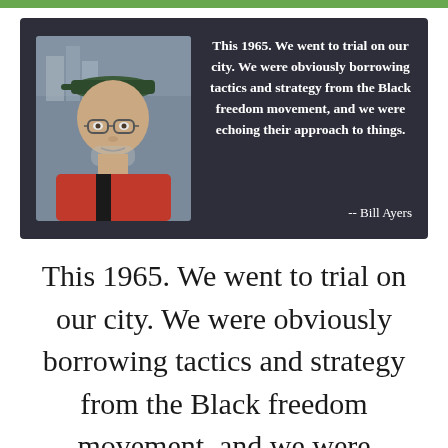[Figure (photo): Quote card with dark background showing a photo of Bill Ayers (older man with glasses and cap) on the left, and a bold white quote on the right: 'This 1965. We went to trial on our city. We were obviously borrowing tactics and strategy from the Black freedom movement, and we were echoing their approach to things.' attributed to -- Bill Ayers]
This 1965. We went to trial on our city. We were obviously borrowing tactics and strategy from the Black freedom movement, and we were echoing their approach to things.